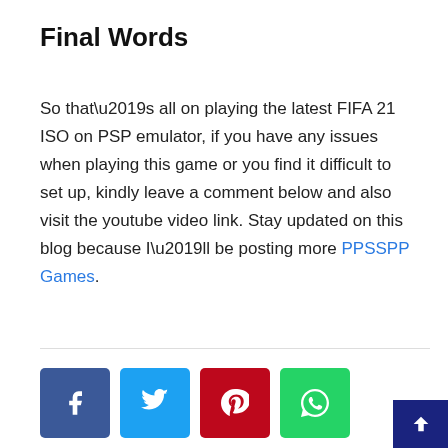Final Words
So that’s all on playing the latest FIFA 21 ISO on PSP emulator, if you have any issues when playing this game or you find it difficult to set up, kindly leave a comment below and also visit the youtube video link. Stay updated on this blog because I’ll be posting more PPSSPP Games.
[Figure (infographic): Social sharing buttons: Facebook (blue), Twitter (cyan), Pinterest (red), WhatsApp (green)]